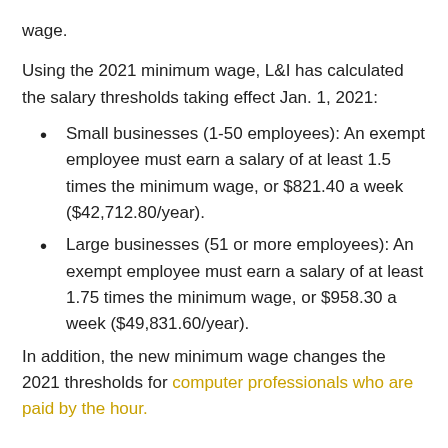wage.
Using the 2021 minimum wage, L&I has calculated the salary thresholds taking effect Jan. 1, 2021:
Small businesses (1-50 employees): An exempt employee must earn a salary of at least 1.5 times the minimum wage, or $821.40 a week ($42,712.80/year).
Large businesses (51 or more employees): An exempt employee must earn a salary of at least 1.75 times the minimum wage, or $958.30 a week ($49,831.60/year).
In addition, the new minimum wage changes the 2021 thresholds for computer professionals who are paid by the hour.